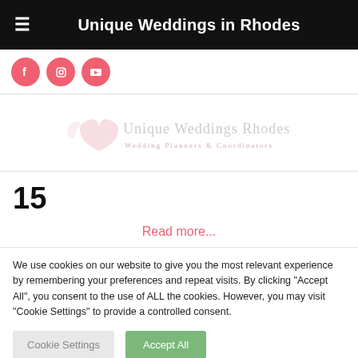Unique Weddings in Rhodes
[Figure (logo): Social media icons row: Facebook, Instagram, YouTube circular pink icons]
[Figure (logo): Unique Weddings Rhodes logo with heart/swan watermark in light pink/grey]
15
Read more...
We use cookies on our website to give you the most relevant experience by remembering your preferences and repeat visits. By clicking "Accept All", you consent to the use of ALL the cookies. However, you may visit "Cookie Settings" to provide a controlled consent.
Cookie Settings | Accept All